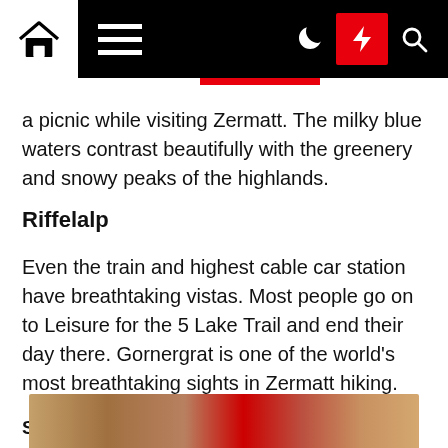[Navigation bar with home, menu, moon, lightning, search icons]
a picnic while visiting Zermatt. The milky blue waters contrast beautifully with the greenery and snowy peaks of the highlands.
Riffelalp
Even the train and highest cable car station have breathtaking vistas. Most people go on to Leisure for the 5 Lake Trail and end their day there. Gornergrat is one of the world's most breathtaking sights in Zermatt hiking.
See Related: Ways to Sustainable Travel
5. Indulge In Mouthwatering Swiss Cuisine
Raclette
[Figure (photo): Bottom portion of an image showing what appears to be Swiss cuisine (Raclette), partially visible at the bottom of the page]